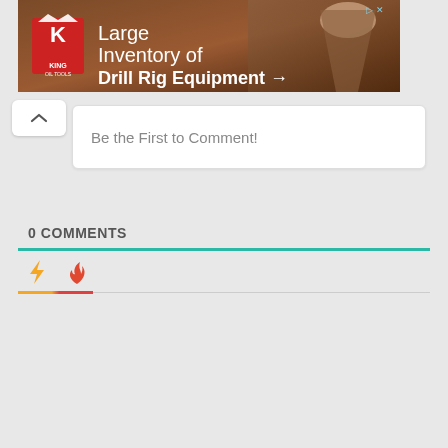[Figure (screenshot): Advertisement banner for King Oil Tools - Large Inventory of Drill Rig Equipment with arrow]
Be the First to Comment!
0 COMMENTS
[Figure (infographic): Lightning bolt icon (yellow/orange) and flame icon (red/orange) representing comment sorting tabs with colored underline]